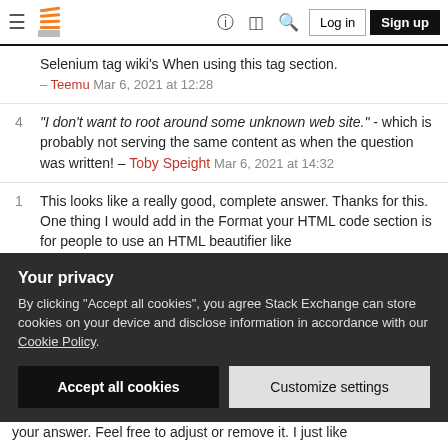Stack Exchange navigation bar with hamburger, logo, help, chat, search icons, Log in and Sign up buttons
Selenium tag wiki's When using this tag section. – Teemu Mar 6, 2021 at 12:28
"I don't want to root around some unknown web site." - which is probably not serving the same content as when the question was written! – Toby Speight Mar 6, 2021 at 14:32
This looks like a really good, complete answer. Thanks for this. One thing I would add in the Format your HTML code section is for people to use an HTML beautifier like beautifytools.com/html-beautifier.php. I have yet to find one that is perfect but it fixes the high level issues and then I tweak it from there. – JeffC Mar
Your privacy
By clicking "Accept all cookies", you agree Stack Exchange can store cookies on your device and disclose information in accordance with our Cookie Policy.
your answer. Feel free to adjust or remove it. I just like